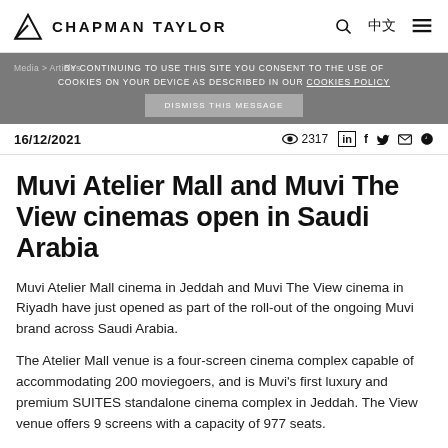CHAPMAN TAYLOR
BY CONTINUING TO USE THIS SITE YOU CONSENT TO THE USE OF COOKIES ON YOUR DEVICE AS DESCRIBED IN OUR COOKIES POLICY
DISMISS THIS MESSAGE
Media > Articles
16/12/2021  👁 2317  in  f  🐦  ✉  📌
Muvi Atelier Mall and Muvi The View cinemas open in Saudi Arabia
Muvi Atelier Mall cinema in Jeddah and Muvi The View cinema in Riyadh have just opened as part of the roll-out of the ongoing Muvi brand across Saudi Arabia.
The Atelier Mall venue is a four-screen cinema complex capable of accommodating 200 moviegoers, and is Muvi's first luxury and premium SUITES standalone cinema complex in Jeddah. The View venue offers 9 screens with a capacity of 977 seats.